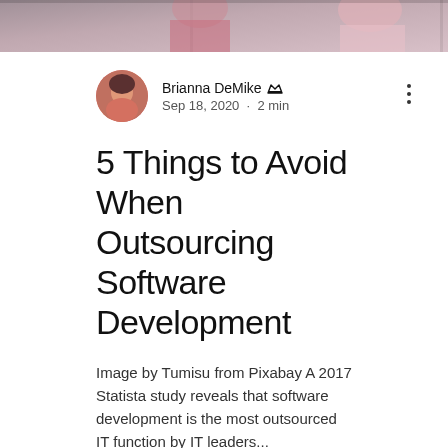[Figure (photo): Cropped top portion of a photo showing people, partially visible]
Brianna DeMike 👑
Sep 18, 2020 · 2 min
5 Things to Avoid When Outsourcing Software Development
Image by Tumisu from Pixabay A 2017 Statista study reveals that software development is the most outsourced IT function by IT leaders...
👁 1   💬 0